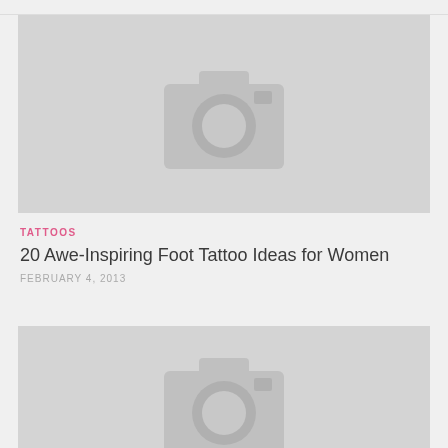[Figure (photo): Placeholder image with camera icon on grey background]
TATTOOS
20 Awe-Inspiring Foot Tattoo Ideas for Women
FEBRUARY 4, 2013
[Figure (photo): Placeholder image with camera icon on grey background, partially visible]